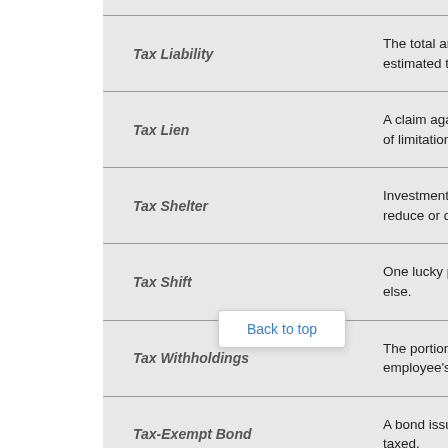| Term | Definition |
| --- | --- |
| Tax Liability | The total amount of tax that a person mu... estimated tax payments and payments a... |
| Tax Lien | A claim against property for unpaid taxes... of limitations takes effect. |
| Tax Shelter | Investment to acquire something of valu... reduce or defer taxes. |
| Tax Shift | One lucky person or group is able to shi... else. |
| Tax Withholdings | The portion that an employer takes from... employee's taxes. |
| Tax-Exempt Bond | A bond issued by a municipal, county or... taxed. |
Back to top